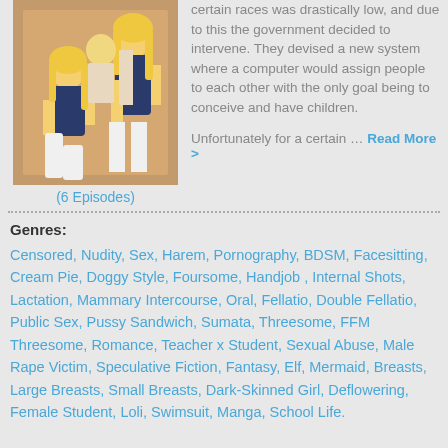[Figure (illustration): Anime-style illustration showing anime characters with blonde hair in school uniforms]
(6 Episodes)
certain races was drastically low, and due to this the government decided to intervene. They devised a new system where a computer would assign people to each other with the only goal being to conceive and have children.

Unfortunately for a certain … Read More >
Genres:
Censored, Nudity, Sex, Harem, Pornography, BDSM, Facesitting, Cream Pie, Doggy Style, Foursome, Handjob , Internal Shots, Lactation, Mammary Intercourse, Oral, Fellatio, Double Fellatio, Public Sex, Pussy Sandwich, Sumata, Threesome, FFM Threesome, Romance, Teacher x Student, Sexual Abuse, Male Rape Victim, Speculative Fiction, Fantasy, Elf, Mermaid, Breasts, Large Breasts, Small Breasts, Dark-Skinned Girl, Deflowering, Female Student, Loli, Swimsuit, Manga, School Life.